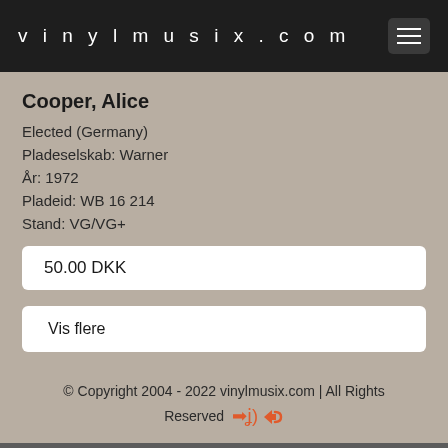vinylmusix.com
Cooper, Alice
Elected (Germany)
Pladeselskab: Warner
År: 1972
Pladeid: WB 16 214
Stand: VG/VG+
50.00 DKK
Vis flere
© Copyright 2004 - 2022 vinylmusix.com | All Rights Reserved